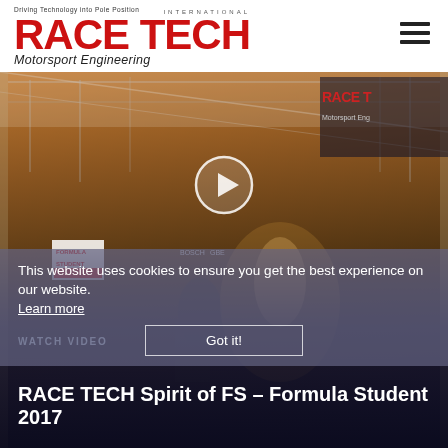[Figure (logo): Race Tech International Motorsport Engineering logo with tagline 'Driving Technology into Pole Position']
[Figure (screenshot): Video thumbnail showing a Formula Student 2017 event presentation under a tent, with a play button overlay, cookie consent banner reading 'This website uses cookies to ensure you get the best experience on our website. Learn more' and a 'Got it!' button, plus text 'WATCH VIDEO' and title 'RACE TECH Spirit of FS – Formula Student 2017']